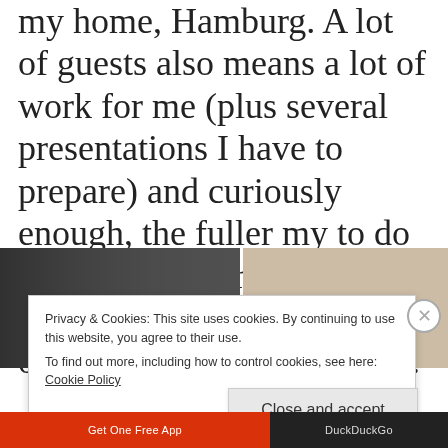my home, Hamburg. A lot of guests also means a lot of work for me (plus several presentations I have to prepare) and curiously enough, the fuller my to do list, the better my work motivation. I must be high on adrenaline or something.
[Figure (photo): Two partial photos side by side: left shows a dark/blurred scene, right shows a person with light hair.]
Privacy & Cookies: This site uses cookies. By continuing to use this website, you agree to their use.
To find out more, including how to control cookies, see here: Cookie Policy
Close and accept